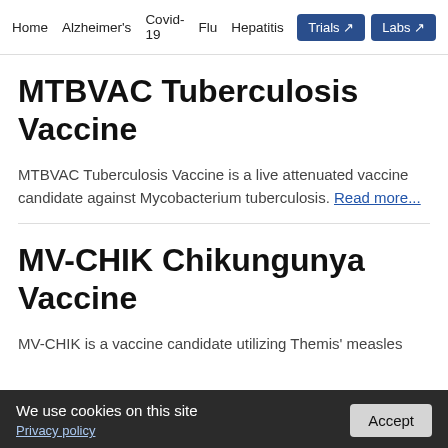Home  Alzheimer's  Covid-19  Flu  Hepatitis  Her  Trials  Labs
MTBVAC Tuberculosis Vaccine
MTBVAC Tuberculosis Vaccine is a live attenuated vaccine candidate against Mycobacterium tuberculosis. Read more...
MV-CHIK Chikungunya Vaccine
MV-CHIK is a vaccine candidate utilizing Themis' measles
We use cookies on this site
Privacy policy